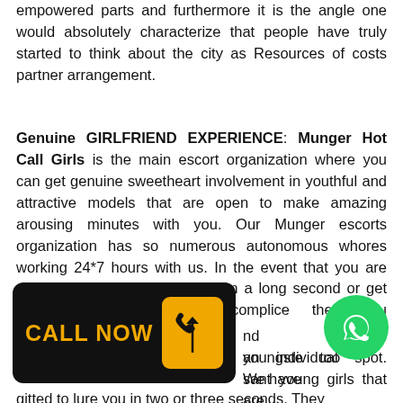empowered parts and furthermore it is the angle one would absolutely characterize that people have truly started to think about the city as Resources of costs partner arrangement.
Genuine GIRLFRIEND EXPERIENCE: Munger Hot Call Girls is the main escort organization where you can get genuine sweetheart involvement in youthful and attractive models that are open to make amazing arousing minutes with you. Our Munger escorts organization has so numerous autonomous whores working 24*7 hours with us. In the event that you are pitiful and alone in your life from a long second or get aggravated from your accomplice then you should acquire nd little youngster too an individual spot. We have sant young girls that are gitted to lure you in two or three seconds. They
[Figure (other): CALL NOW button with phone icon in black and yellow/orange colors]
[Figure (other): WhatsApp green circle button with phone icon]